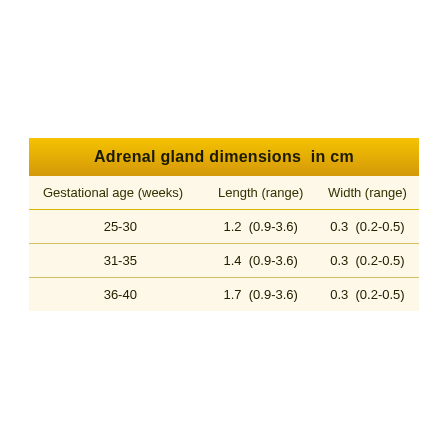| Gestational age (weeks) | Length (range) | Width (range) |
| --- | --- | --- |
| 25-30 | 1.2  (0.9-3.6) | 0.3  (0.2-0.5) |
| 31-35 | 1.4  (0.9-3.6) | 0.3  (0.2-0.5) |
| 36-40 | 1.7  (0.9-3.6) | 0.3  (0.2-0.5) |